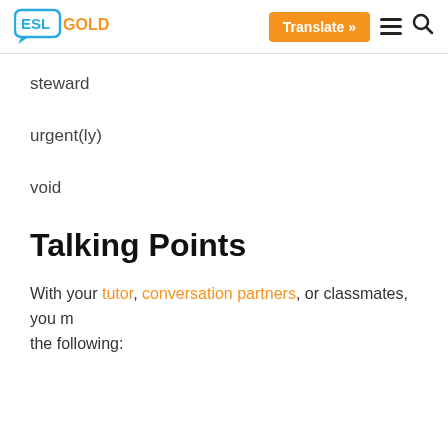ESL GOLD | Translate » ☰ 🔍
steward
urgent(ly)
void
Talking Points
With your tutor, conversation partners, or classmates, you may discuss the following: